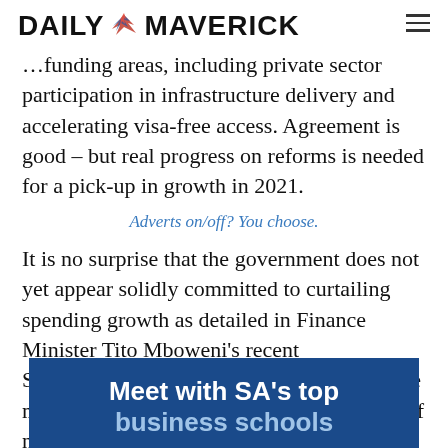DAILY MAVERICK
...funding areas, including private sector participation in infrastructure delivery and accelerating visa-free access. Agreement is good – but real progress on reforms is needed for a pick-up in growth in 2021.
Adverts on/off? You choose.
It is no surprise that the government does not yet appear solidly committed to curtailing spending growth as detailed in Finance Minister Tito Mboweni's recent Supplementary Budget. Bear in mind that the minister has not proposed much in the way of nominal spending cuts – rather the Supplementary Budget curtails spending growth
[Figure (infographic): Blue advertisement banner reading 'Meet with SA's top business schools']